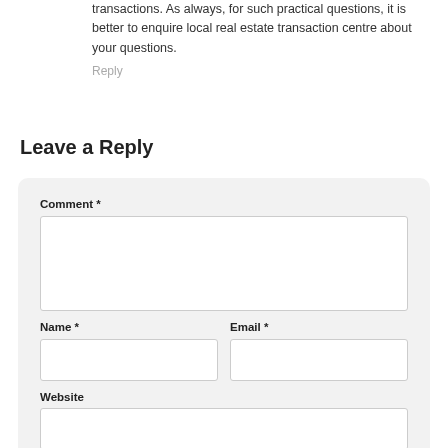transactions. As always, for such practical questions, it is better to enquire local real estate transaction centre about your questions.
Reply
Leave a Reply
Comment *
Name *
Email *
Website